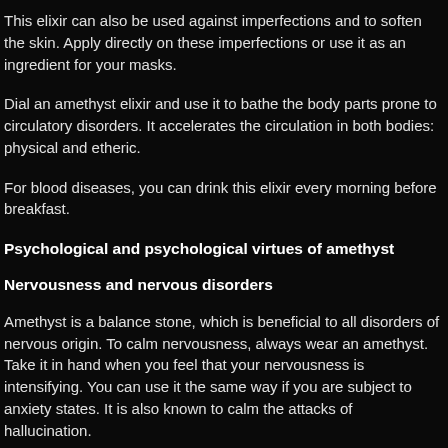This elixir can also be used against imperfections and to soften the skin. Apply directly on these imperfections or use it as an ingredient for your masks.
Dial an amethyst elixir and use it to bathe the body parts prone to circulatory disorders. It accelerates the circulation in both bodies: physical and etheric.
For blood diseases, you can drink this elixir every morning before breakfast.
Psychological and psychological virtues of amethyst
Nervousness and nervous disorders
Amethyst is a balance stone, which is beneficial to all disorders of nervous origin. To calm nervousness, always wear an amethyst. Take it in hand when you feel that your nervousness is intensifying. You can use it the same way if you are subject to anxiety states. It is also known to calm the attacks of hallucination.